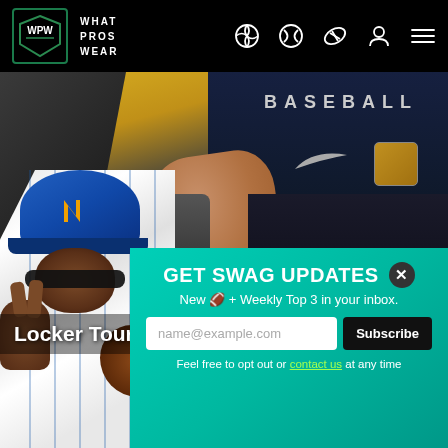WPW What Pros Wear
[Figure (photo): Locker room photo of baseball player Mike Brosseau in yellow and navy uniform sitting in locker room]
Locker Tour: Mike Brosseau
[Figure (photo): Cutout photo of Mets baseball pitcher in white pinstripe jersey making peace sign gesture]
GET SWAG UPDATES
New 🏈 + Weekly Top 3 in your inbox.
name@example.com
Subscribe
Feel free to opt out or contact us at any time